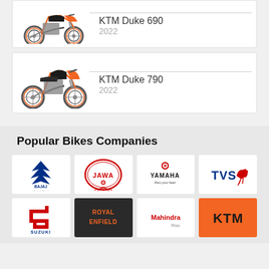[Figure (photo): KTM Duke 690 motorcycle in orange and black color]
KTM Duke 690
2022
[Figure (photo): KTM Duke 790 motorcycle in orange and black color]
KTM Duke 790
2022
Popular Bikes Companies
[Figure (logo): Bajaj logo - blue chevron with text BAJAJ Distinctly Ahead]
[Figure (logo): Jawa logo - circular red oval with JAWA text]
[Figure (logo): Yamaha logo - Yamaha Revs your heart]
[Figure (logo): TVS logo - blue TVS text with running horse]
[Figure (logo): Suzuki logo - red S symbol with SUZUKI text]
[Figure (logo): Royal Enfield logo - dark background with Royal Enfield text in orange]
[Figure (logo): Mahindra Rise logo - red Mahindra text with Rise]
[Figure (logo): KTM logo - orange background with KTM text in black]